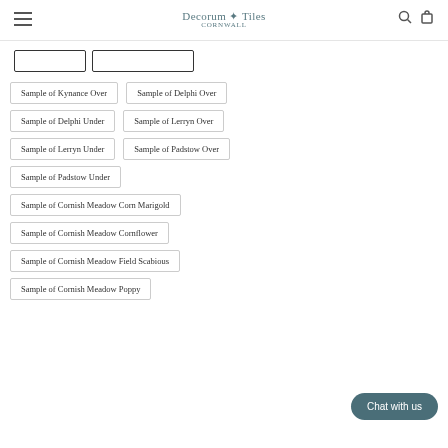Decorum + Tiles CORNWALL
Sample of Kynance Over
Sample of Delphi Over
Sample of Delphi Under
Sample of Lerryn Over
Sample of Lerryn Under
Sample of Padstow Over
Sample of Padstow Under
Sample of Cornish Meadow Corn Marigold
Sample of Cornish Meadow Cornflower
Sample of Cornish Meadow Field Scabious
Sample of Cornish Meadow Poppy